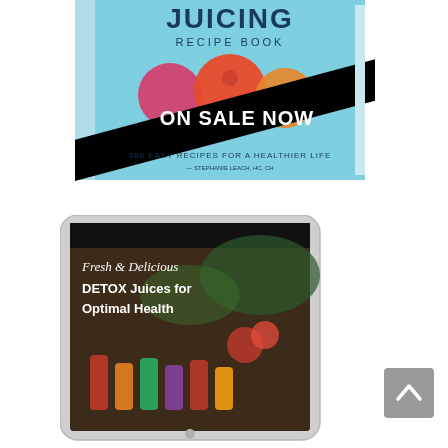[Figure (photo): A juicing recipe book with light blue cover showing juice glasses and text 'RECIPE BOOK', '360 EASY RECIPES FOR A HEALTHIER LIFE', with a black diagonal banner reading 'ON SALE NOW']
[Figure (photo): A tablet/iPad displaying an ebook cover titled 'Fresh & Delicious DETOX Juices for Optimal Health' with images of colorful juice bottles and vegetables on a dark background]
[Figure (other): A grey scroll-to-top button with an upward arrow chevron icon, positioned in the bottom right area]